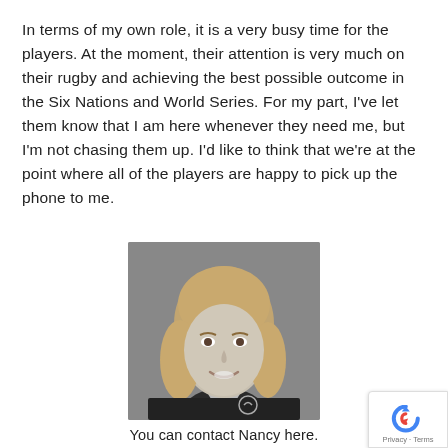In terms of my own role, it is a very busy time for the players. At the moment, their attention is very much on their rugby and achieving the best possible outcome in the Six Nations and World Series. For my part, I've let them know that I am here whenever they need me, but I'm not chasing them up. I'd like to think that we're at the point where all of the players are happy to pick up the phone to me.
[Figure (photo): Black and white headshot of a woman with shoulder-length blonde hair, smiling, wearing a dark polo shirt with a logo.]
You can contact Nancy here.